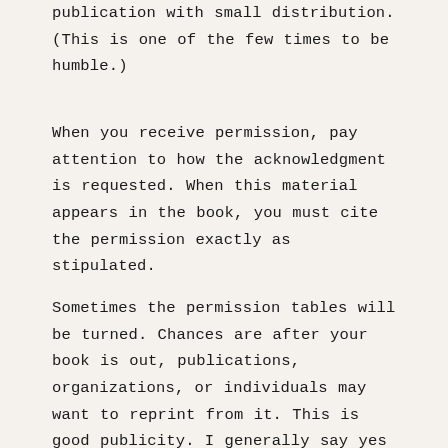publication with small distribution. (This is one of the few times to be humble.)
When you receive permission, pay attention to how the acknowledgment is requested. When this material appears in the book, you must cite the permission exactly as stipulated.
Sometimes the permission tables will be turned. Chances are after your book is out, publications, organizations, or individuals may want to reprint from it. This is good publicity. I generally say yes with two stipulations: (1) I limit the amount they can use (perhaps no more than three pages from an entire book), and (2) I require that they state where the material originated. Also insist your website and phone